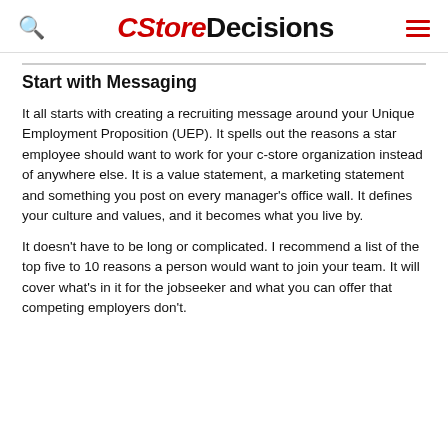CStoreDecisions
Start with Messaging
It all starts with creating a recruiting message around your Unique Employment Proposition (UEP). It spells out the reasons a star employee should want to work for your c-store organization instead of anywhere else. It is a value statement, a marketing statement and something you post on every manager's office wall. It defines your culture and values, and it becomes what you live by.
It doesn't have to be long or complicated. I recommend a list of the top five to 10 reasons a person would want to join your team. It will cover what's in it for the jobseeker and what you can offer that competing employers don't.